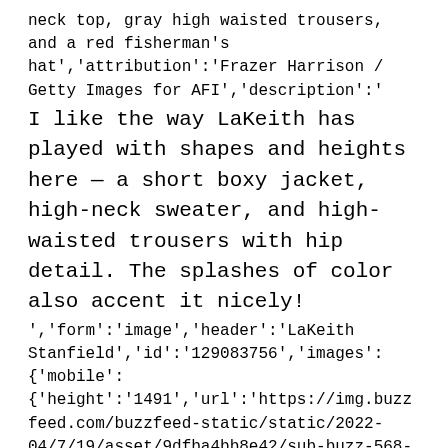neck top, gray high waisted trousers, and a red fisherman's hat','attribution':'Frazer Harrison / Getty Images for AFI','description':'
I like the way LaKeith has played with shapes and heights here — a short boxy jacket, high-neck sweater, and high-waisted trousers with hip detail. The splashes of color also accent it nicely!
','form':'image','header':'LaKeith Stanfield','id':'129083756','images':{'mobile':{'height':'1491','url':'https://img.buzzfeed.com/buzzfeed-static/static/2022-04/7/19/asset/9dfba4bb8e42/sub-buzz-568-1649360993-1.jpg?resize=990:1491','width':'990'},'original':{'height':'4517','url':'https://img.buzzfeed.com/buzzfeed-static/static/2022-04/7/19/asset/9dfba4bb8e42/sub-buzz-568-1649360993-1.jpg','width':'3000'},'standard':{'height':'941','url':'https://img.buzzfeed.com/buzzfeed-static/static/2022-04/7/19/asset/9dfba4bb8e42/sub-buzz-568-1649360993-1.jpg?resize=625:941','width':'625'},'wide':